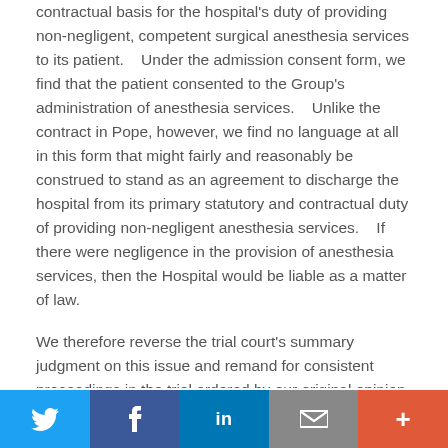contractual basis for the hospital's duty of providing non-negligent, competent surgical anesthesia services to its patient. Under the admission consent form, we find that the patient consented to the Group's administration of anesthesia services. Unlike the contract in Pope, however, we find no language at all in this form that might fairly and reasonably be construed to stand as an agreement to discharge the hospital from its primary statutory and contractual duty of providing non-negligent anesthesia services. If there were negligence in the provision of anesthesia services, then the Hospital would be liable as a matter of law.
We therefore reverse the trial court's summary judgment on this issue and remand for consistent proceedings in the trial ordered by our original opinion on the claim of negligence.
FOOTNOTES
Twitter | Facebook | LinkedIn | Email | More